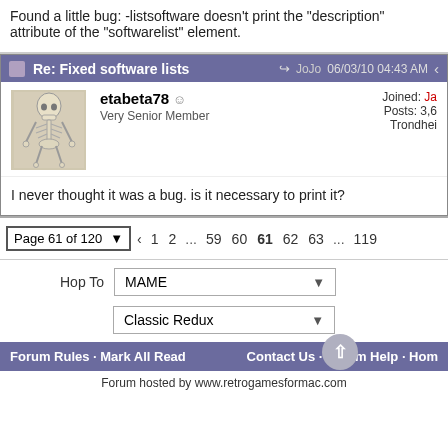Found a little bug: -listsoftware doesn't print the "description" attribute of the "softwarelist" element.
Re: Fixed software lists — JoJo 06/03/10 04:43 AM
etabeta78  Very Senior Member  Joined: Ja  Posts: 3,6  Trondhei
I never thought it was a bug. is it necessary to print it?
Page 61 of 120  ◄  1  2  ...  59  60  61  62  63  ...  119
Hop To   MAME
Classic Redux
Forum Rules · Mark All Read    Contact Us · Forum Help · Hom
Forum hosted by www.retrogamesformac.com